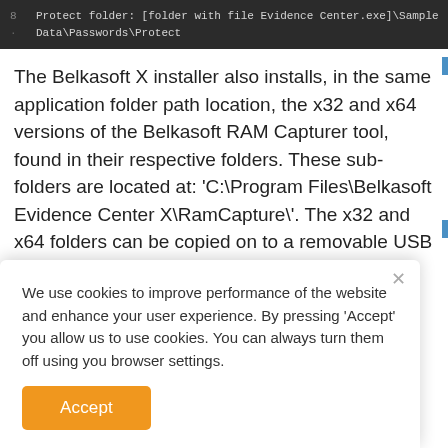[Figure (screenshot): Dark-themed code block showing line 8: 'Protect folder: [folder with file Evidence Center.exe]\Sample Data\Passwords\Protect']
The Belkasoft X installer also installs, in the same application folder path location, the x32 and x64 versions of the Belkasoft RAM Capturer tool, found in their respective folders. These sub-folders are located at: 'C:\Program Files\Belkasoft Evidence Center X\RamCapture\'. The x32 and x64 folders can be copied on to a removable USB drive for use in the field for acquiring Windows RAM memory.
We use cookies to improve performance of the website and enhance your user experience. By pressing 'Accept' you allow us to use cookies. You can always turn them off using you browser settings.